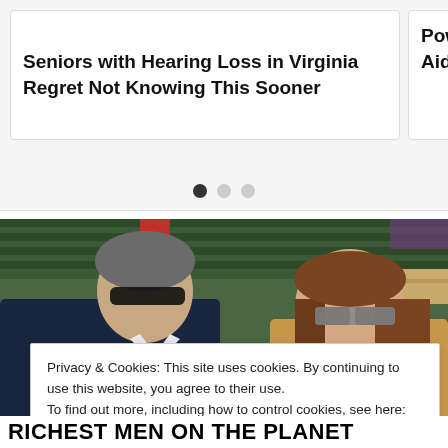Seniors with Hearing Loss in Virginia Regret Not Knowing This Sooner
Power Aids C
[Figure (photo): Two people sitting in stadium seating at what appears to be Wimbledon. A man in a dark navy suit with a tie and sunglasses sits on the left, and a woman with long brown hair and sunglasses wearing a floral top sits on the right.]
Privacy & Cookies: This site uses cookies. By continuing to use this website, you agree to their use.
To find out more, including how to control cookies, see here: Cookie Policy
Close and accept
Richest Men on the Planet